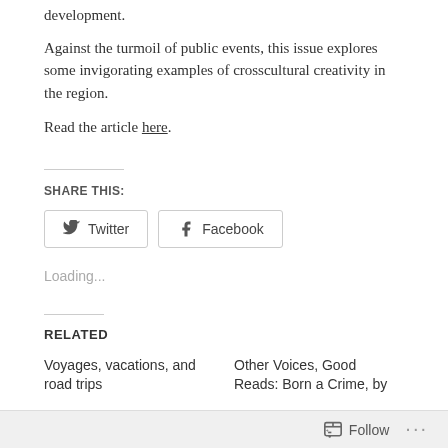development.
Against the turmoil of public events, this issue explores some invigorating examples of crosscultural creativity in the region.
Read the article here.
SHARE THIS:
[Figure (other): Share buttons for Twitter and Facebook with bird and 'f' icons]
Loading...
RELATED
Voyages, vacations, and road trips
Other Voices, Good Reads: Born a Crime, by
Follow